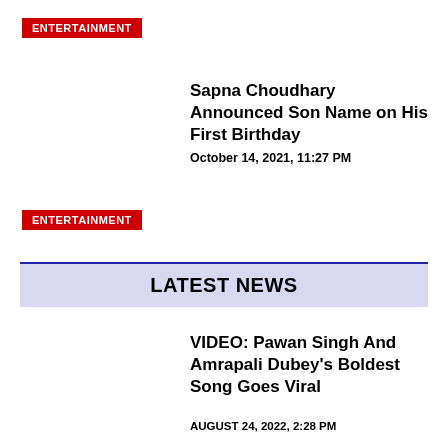ENTERTAINMENT
Sapna Choudhary Announced Son Name on His First Birthday
October 14, 2021, 11:27 PM
ENTERTAINMENT
LATEST NEWS
VIDEO: Pawan Singh And Amrapali Dubey's Boldest Song Goes Viral
AUGUST 24, 2022, 2:28 PM